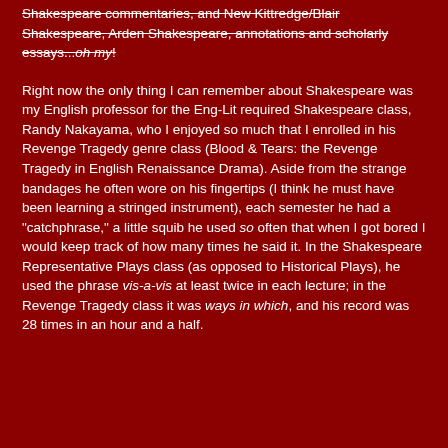Shakespeare commentaries, and New Kittredge/Blair Shakespeare, Arden Shakespeare, annotations and scholarly essays...oh my!
Right now the only thing I can remember about Shakespeare was my English professor for the Eng-Lit required Shakespeare class, Randy Nakayama, who I enjoyed so much that I enrolled in his Revenge Tragedy genre class (Blood & Tears: the Revenge Tragedy in English Renaissance Drama). Aside from the strange bandages he often wore on his fingertips (I think he must have been learning a stringed instrument), each semester he had a "catchphrase," a little squib he used so often that when I got bored I would keep track of how many times he said it. In the Shakespeare Representative Plays class (as opposed to Historical Plays), he used the phrase vis-a-vis at least twice in each lecture; in the Revenge Tragedy class it was ways in which, and his record was 28 times in an hour and a half.